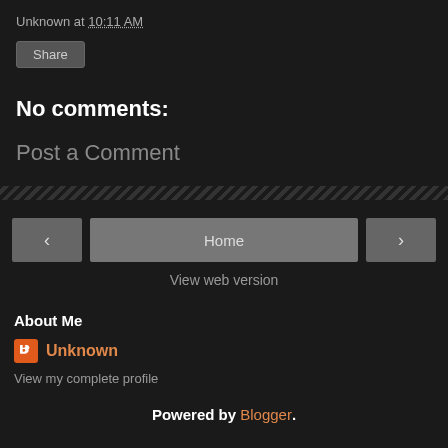Unknown at 10:11 AM
Share
No comments:
Post a Comment
Home
View web version
About Me
Unknown
View my complete profile
Powered by Blogger.